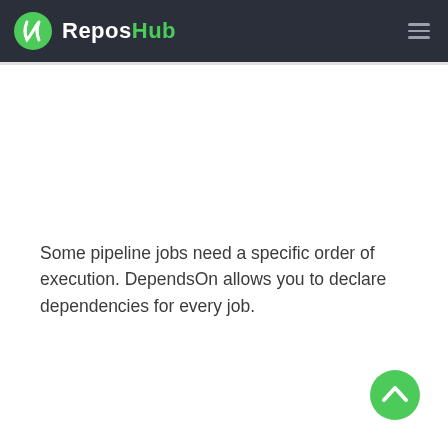ReposHub
Some pipeline jobs need a specific order of execution. DependsOn allows you to declare dependencies for every job.